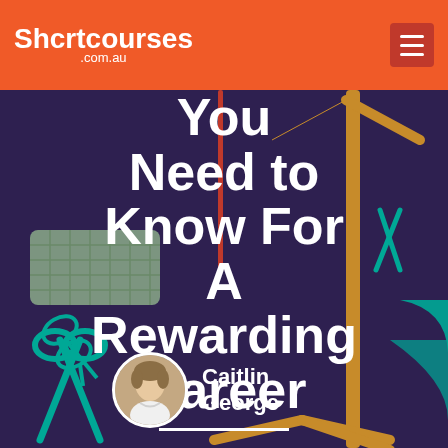Shcrtcourses .com.au
[Figure (illustration): Dark purple background with illustrated hairdressing tools: scissors (teal), hair roller, clothes/coat hanger stand in gold/amber — decorative background for a hairdressing career article.]
You Need to Know For A Rewarding Career
Caitlin George